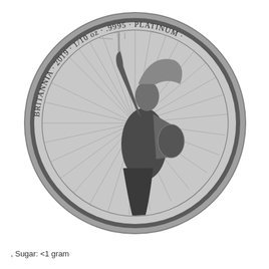[Figure (photo): Black and white photograph of the reverse side of a 2019 Britannia 1/10 oz platinum coin (.9995 purity). The coin shows the standing figure of Britannia holding a trident and shield, with radiating lines behind her. The inscription around the rim reads: BRITANNIA · 2019 · 1/10 oz · .9995 · PLATINUM ·]
, Sugar: <1 gram